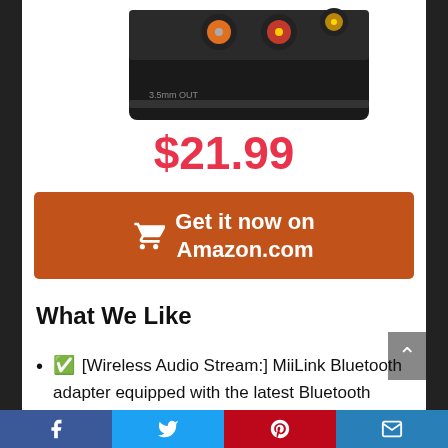[Figure (photo): Partial top view of a black Bluetooth audio adapter/converter device showing RCA connectors and 3.5mm output port]
$21.99
Get it now on Amazon.com
What We Like
✅ [Wireless Audio Stream:] MiiLink Bluetooth adapter equipped with the latest Bluetooth 5.0,which allows you to wirelessly stream
Facebook | Twitter | Pinterest | Email